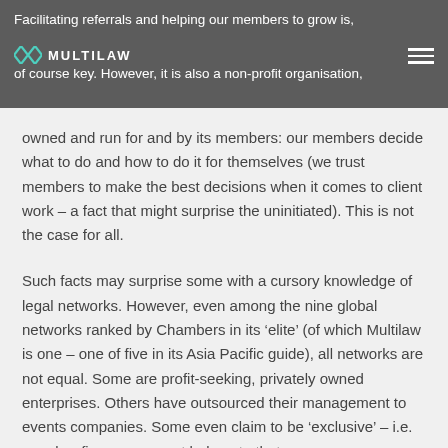Facilitating referrals and helping our members to grow is, of course key. However, it is also a non-profit organisation,
owned and run for and by its members: our members decide what to do and how to do it for themselves (we trust members to make the best decisions when it comes to client work – a fact that might surprise the uninitiated). This is not the case for all.
Such facts may surprise some with a cursory knowledge of legal networks. However, even among the nine global networks ranked by Chambers in its ‘elite’ (of which Multilaw is one – one of five in its Asia Pacific guide), all networks are not equal. Some are profit-seeking, privately owned enterprises. Others have outsourced their management to events companies. Some even claim to be ‘exclusive’ – i.e. member firms are meant belong to that